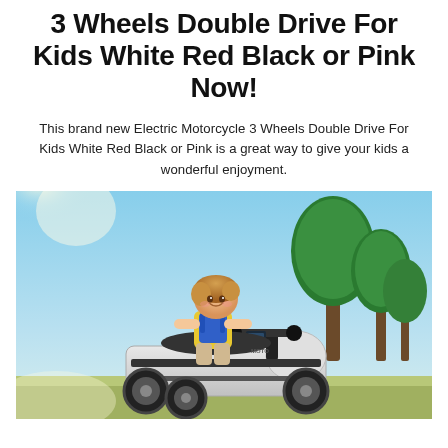3 Wheels Double Drive For Kids White Red Black or Pink Now!
This brand new Electric Motorcycle 3 Wheels Double Drive For Kids White Red Black or Pink is a great way to give your kids a wonderful enjoyment.
[Figure (photo): A young child with blonde hair sitting on a white electric motorcycle toy with 3 wheels, smiling, outdoors with trees and blue sky in the background.]